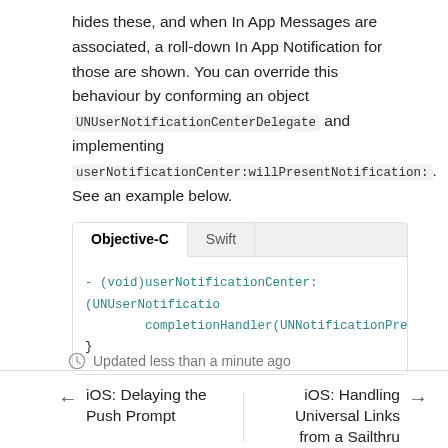hides these, and when In App Messages are associated, a roll-down In App Notification for those are shown. You can override this behaviour by conforming an object UNUserNotificationCenterDelegate and implementing userNotificationCenter:willPresentNotification:. See an example below.
[Figure (screenshot): Code snippet panel with Objective-C and Swift tabs. Objective-C tab is active. Code shown: - (void)userNotificationCenter:(UNUserNotificatio... completionHandler(UNNotificationPresentationO... }]
Updated less than a minute ago
← iOS: Delaying the Push Prompt
iOS: Handling Universal Links from a Sailthru →